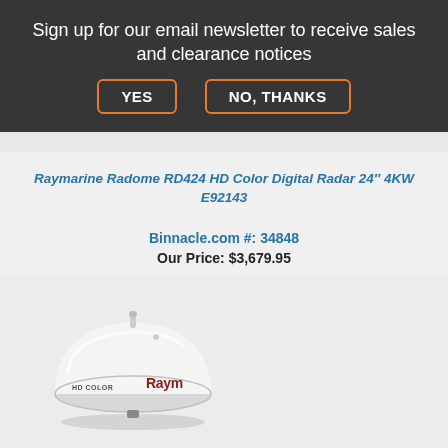Sign up for our email newsletter to receive sales and clearance notices
YES
NO, THANKS
Raymarine Radome RD424 HD Color Digital Radar 24" 4KW E92143
Binnacle.com #: 34848
Our Price: $3,679.95
[Figure (photo): Raymarine Radome RD424 HD Color Digital Radar unit - white dome-shaped radar device with 'HD COLOR' text on left side and 'Raym' (Raymarine) logo in red on right side]